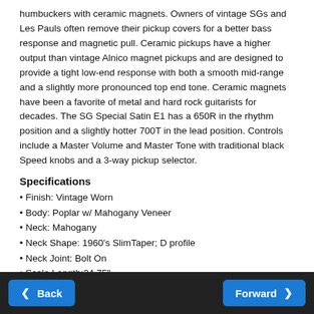humbuckers with ceramic magnets. Owners of vintage SGs and Les Pauls often remove their pickup covers for a better bass response and magnetic pull. Ceramic pickups have a higher output than vintage Alnico magnet pickups and are designed to provide a tight low-end response with both a smooth mid-range and a slightly more pronounced top end tone. Ceramic magnets have been a favorite of metal and hard rock guitarists for decades. The SG Special Satin E1 has a 650R in the rhythm position and a slightly hotter 700T in the lead position. Controls include a Master Volume and Master Tone with traditional black Speed knobs and a 3-way pickup selector.
Specifications
Finish: Vintage Worn
Body: Poplar w/ Mahogany Veneer
Neck: Mahogany
Neck Shape: 1960's SlimTaper; D profile
Neck Joint: Bolt On
Scale Length:24.75"
Headstock: Epiphone "Clipped Ear"; "Les Paul Model" in gold; "Epiphone" logo in silver
Back | Forward